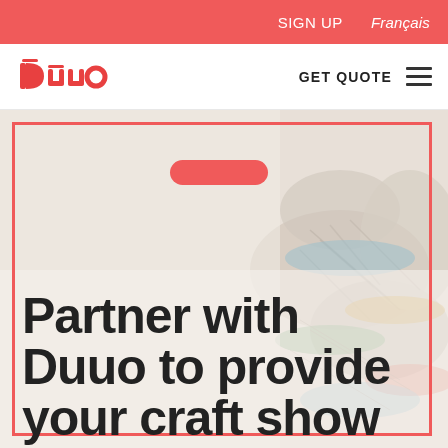SIGN UP  Français
[Figure (logo): Duuo logo in red with stylized text]
GET QUOTE ≡
[Figure (photo): Background photo of colorful woven craft baskets, faded/washed out]
Partner with Duuo to provide your craft show